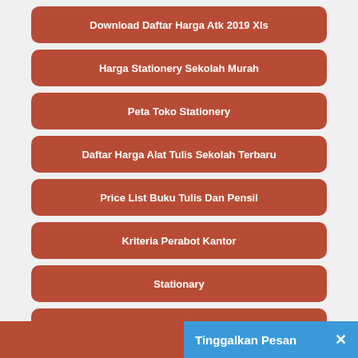Download Daftar Harga Atk 2019 Xls
Harga Stationery Sekolah Murah
Peta Toko Stationery
Daftar Harga Alat Tulis Sekolah Terbaru
Price List Buku Tulis Dan Pensil
Kriteria Perabot Kantor
Stationary
Perlengkapan Dan Peralatan Kantor
Daftar Alat Tulis Ka...
Tinggalkan Pesan